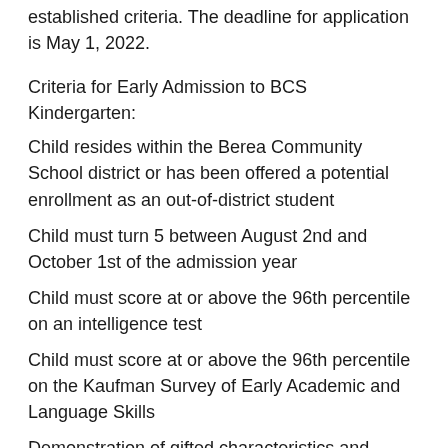established criteria. The deadline for application is May 1, 2022.
Criteria for Early Admission to BCS Kindergarten:
Child resides within the Berea Community School district or has been offered a potential enrollment as an out-of-district student
Child must turn 5 between August 2nd and October 1st of the admission year
Child must score at or above the 96th percentile on an intelligence test
Child must score at or above the 96th percentile on the Kaufman Survey of Early Academic and Language Skills
Demonstration of gifted characteristics and social, emotional and physical maturity